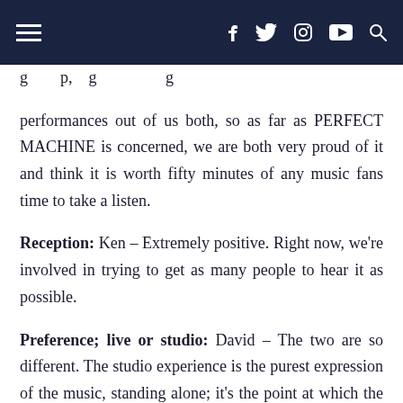Navigation bar with hamburger menu and social icons (Facebook, Twitter, Instagram, YouTube, Search)
performances out of us both, so as far as PERFECT MACHINE is concerned, we are both very proud of it and think it is worth fifty minutes of any music fans time to take a listen.
Reception: Ken – Extremely positive. Right now, we're involved in trying to get as many people to hear it as possible.
Preference; live or studio: David – The two are so different. The studio experience is the purest expression of the music, standing alone; it's the point at which the music moves from ideas, discussions and a mental activity into something tangible. Live,